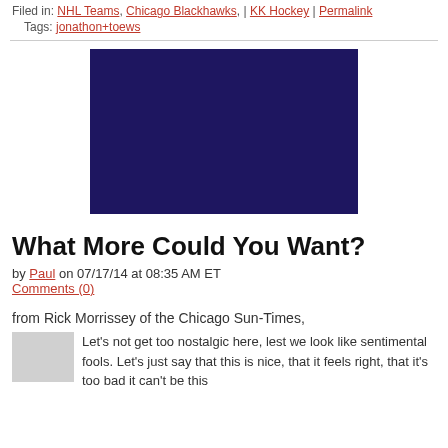Filed in: NHL Teams, Chicago Blackhawks, | KK Hockey | Permalink
Tags: jonathon+toews
[Figure (photo): Dark navy/indigo rectangle, likely an embedded video or image placeholder]
What More Could You Want?
by Paul on 07/17/14 at 08:35 AM ET
Comments (0)
from Rick Morrissey of the Chicago Sun-Times,
Let's not get too nostalgic here, lest we look like sentimental fools. Let's just say that this is nice, that it feels right, that it's too bad it can't be this